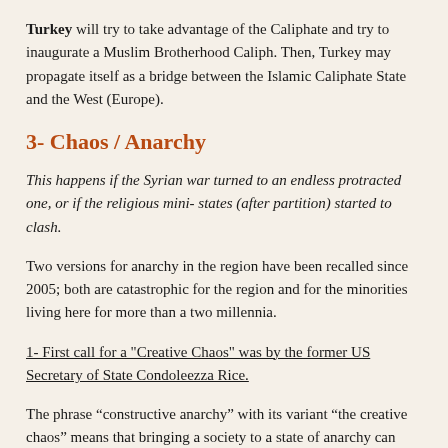Turkey will try to take advantage of the Caliphate and try to inaugurate a Muslim Brotherhood Caliph. Then, Turkey may propagate itself as a bridge between the Islamic Caliphate State and the West (Europe).
3- Chaos / Anarchy
This happens if the Syrian war turned to an endless protracted one, or if the religious mini- states (after partition) started to clash.
Two versions for anarchy in the region have been recalled since 2005; both are catastrophic for the region and for the minorities living here for more than a two millennia.
1- First call for a "Creative Chaos" was by the former US Secretary of State Condoleezza Rice.
The phrase “constructive anarchy” with its variant “the creative chaos” means that bringing a society to a state of anarchy can have some of the most varied forms; different dynamics from one situation to another, temporary or long perspective interests and/ or  different results in terms of scope, impact and consequences. From this point of view, the essence of the “constructive chaos” was synthesized by Condoleezza Rice who, in an article hosted by “Washington Post” in April, 2005 stated that “the anarchy that involves reforms and democratic transformations in the Middle East is a constructive one to the extent that it can create a much better and more acceptable situation than the